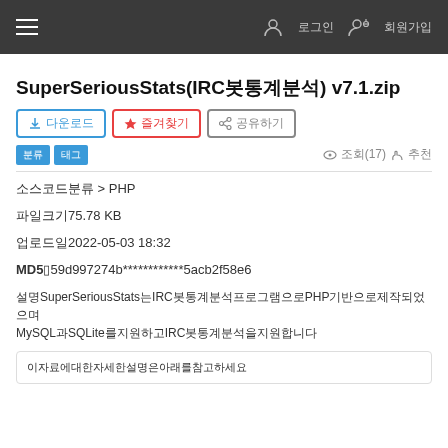≡  (nav icons) 로그인  회원가입
SuperSeriousStats(IRC봇통계분석) v7.1.zip
다운로드 버튼, 즐겨찾기 버튼, 공유 버튼
분류 태그 · 조회(17) 추천
소스코드분류 > PHP
파일크기75.78 KB
업로드일2022-05-03 18:32
MD5▯59d997274b************5acb2f58e6
SuperSeriousStats는IRC봇통계분석프로그램으로PHP기반으로제작되었으며MySQL과SQLite를지원하고IRC봇통계분석을지원합니다
이자료에대한자세한설명은아래를참고하세요